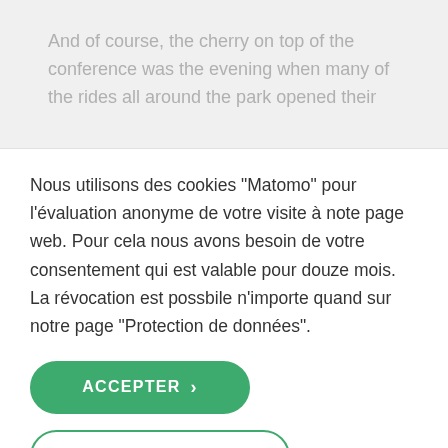And of course, the cherry on top of the conference was the evening when many of the rides all around the park opened their
Nous utilisons des cookies "Matomo" pour l'évaluation anonyme de votre visite à note page web. Pour cela nous avons besoin de votre consentement qui est valable pour douze mois. La révocation est possbile n'importe quand sur notre page "Protection de données".
ACCEPTER >
CONFIGURATION >